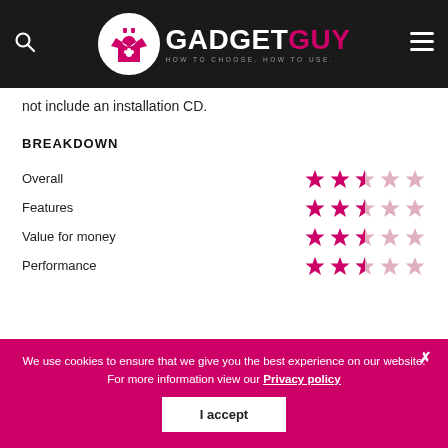GADGETGUY - HOW TO CHOOSE. HOW TO USE.
not include an installation CD.
BREAKDOWN
| Category | Rating |
| --- | --- |
| Overall | 3/5 |
| Features | 3/5 |
| Value for money | 3/5 |
| Performance | 3/5 |
We use cookies to ensure that we give you the best experience on our website. For more information view our Privacy policy
I accept